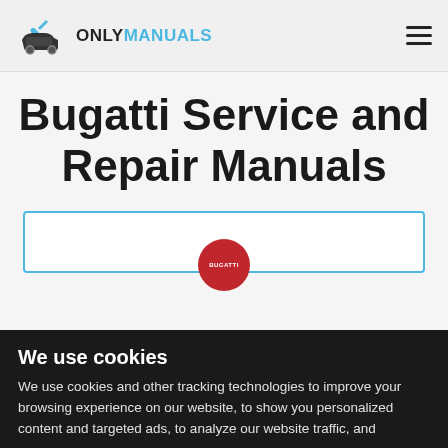ONLYMANUALS
Bugatti Service and Repair Manuals
[Figure (logo): Bugatti red circular badge logo]
We use cookies
We use cookies and other tracking technologies to improve your browsing experience on our website, to show you personalized content and targeted ads, to analyze our website traffic, and